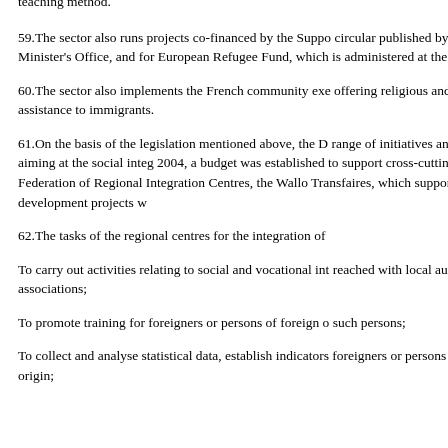teaching method.
59.The sector also runs projects co-financed by the Support circular published by the Prime Minister's Office, and for the European Refugee Fund, which is administered at the fed Seekers.
60.The sector also implements the French community exe offering religious and/or moral assistance to immigrants.
61.On the basis of the legislation mentioned above, the D range of initiatives and services aiming at the social integ 2004, a budget was established to support cross-cutting in the Federation of Regional Integration Centres, the Wallo Transfaires, which supports joint development projects w
62.The tasks of the regional centres for the integration of
To carry out activities relating to social and vocational int reached with local authorities and associations;
To promote training for foreigners or persons of foreign o such persons;
To collect and analyse statistical data, establish indicators foreigners or persons of foreign origin;